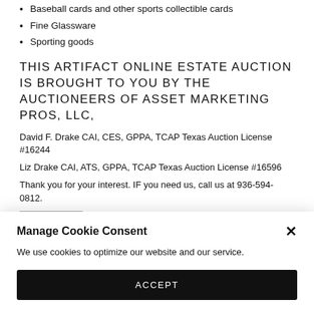Baseball cards and other sports collectible cards
Fine Glassware
Sporting goods
THIS ARTIFACT ONLINE ESTATE AUCTION IS BROUGHT TO YOU BY THE AUCTIONEERS OF ASSET MARKETING PROS, LLC,
David F. Drake CAI, CES, GPPA, TCAP Texas Auction License #16244
Liz Drake CAI, ATS, GPPA, TCAP Texas Auction License #16596
Thank you for your interest. IF you need us, call us at 936-594-0812.
SHARE THIS:
[Figure (other): Social sharing icons row: Facebook (blue circle), Twitter (light blue circle), Pinterest (red circle), LinkedIn (dark blue circle), two grey circles, and a grey rectangular button]
Manage Cookie Consent
We use cookies to optimize our website and our service.
ACCEPT